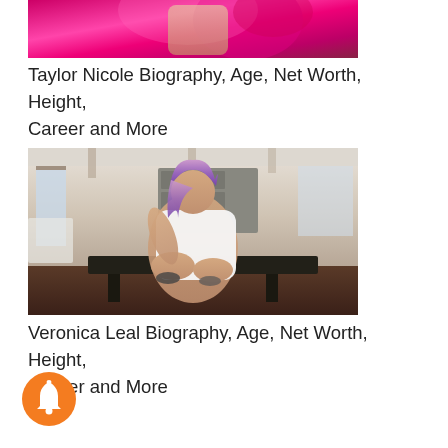[Figure (photo): Partial photo of a person with red/pink hair against a pink/magenta background]
Taylor Nicole Biography, Age, Net Worth, Height, Career and More
[Figure (photo): Woman with purple hair wearing a white outfit, sitting in a modern interior room with dark flooring]
Veronica Leal Biography, Age, Net Worth, Height, Career and More
[Figure (other): Orange circular notification bell button]